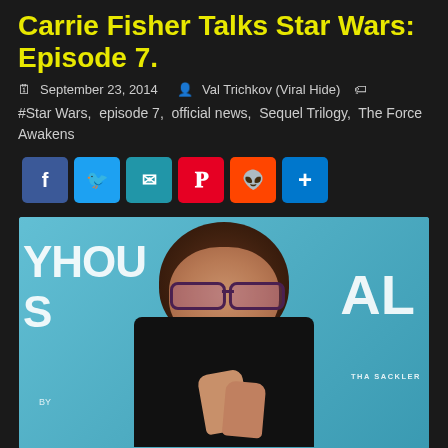Carrie Fisher Talks Star Wars: Episode 7.
September 23, 2014  Val Trichkov (Viral Hide)
#Star Wars, episode 7, official news, Sequel Trilogy, The Force Awakens
[Figure (photo): Photo of Carrie Fisher wearing purple-tinted glasses and black jacket, at an event with teal/blue backdrop showing partial text 'YHOU S', 'AL', 'THA SACKLER', 'BY'. She is holding her hands together near her chin.]